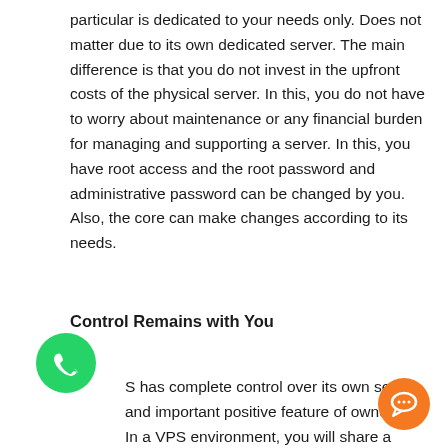particular is dedicated to your needs only. Does not matter due to its own dedicated server. The main difference is that you do not invest in the upfront costs of the physical server. In this, you do not have to worry about maintenance or any financial burden for managing and supporting a server. In this, you have root access and the root password and administrative password can be changed by you. Also, the core can make changes according to its needs.
Control Remains with You
S has complete control over its own server and important positive feature of ownership. In a VPS environment, you will share a server with